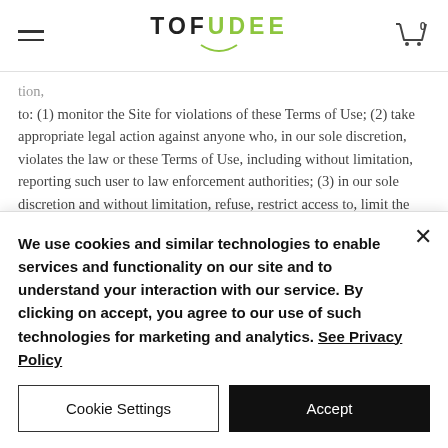TOFUDEE
tion, to: (1) monitor the Site for violations of these Terms of Use; (2) take appropriate legal action against anyone who, in our sole discretion, violates the law or these Terms of Use, including without limitation, reporting such user to law enforcement authorities; (3) in our sole discretion and without limitation, refuse, restrict access to, limit the availability of, or disable (to the extent technologically feasible) any of your Contributions or any portion thereof; (4) in our sole discretion and without limitation, action, availability, to remove from
We use cookies and similar technologies to enable services and functionality on our site and to understand your interaction with our service. By clicking on accept, you agree to our use of such technologies for marketing and analytics. See Privacy Policy